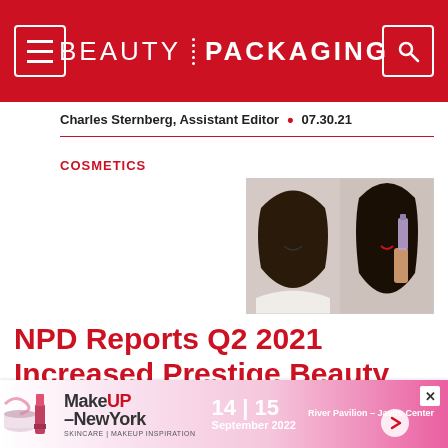BEAUTY PACKAGING
Charles Sternberg, Assistant Editor • 07.30.21
COSMETICS
[Figure (photo): Woman holding a perfume bottle, smiling, with another woman in background]
NPD Reports Q2 2021 Increased Prestige Beauty Sales
Positive markers are emerging, pointing to a complete recovery.
[Figure (advertisement): MakeUp-NewYork advertisement banner: 14|15 September 2022, River Pavilion – Javits Center]